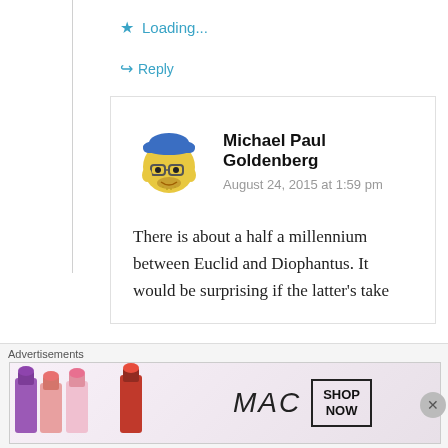Loading...
↳ Reply
[Figure (illustration): Simpsons-style cartoon avatar wearing a blue cap and glasses]
Michael Paul Goldenberg
August 24, 2015 at 1:59 pm
There is about a half a millennium between Euclid and Diophantus. It would be surprising if the latter's take
Advertisements
[Figure (illustration): MAC cosmetics advertisement showing lipsticks with SHOP NOW text]